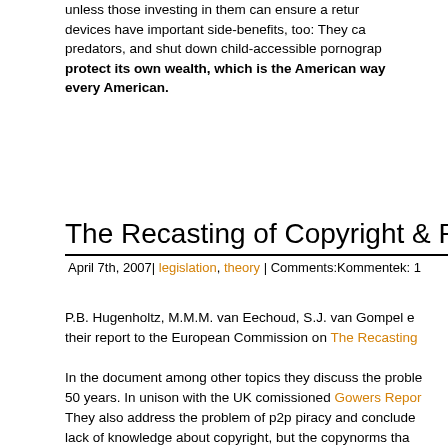unless those investing in them can ensure a return devices have important side-benefits, too: They ca predators, and shut down child-accessible pornogra protect its own wealth, which is the American way every American.
The Recasting of Copyright & Related R
April 7th, 2007| legislation, theory | Comments:Kommentek: 1
P.B. Hugenholtz, M.M.M. van Eechoud, S.J. van Gompel e their report to the European Commission on The Recasting
In the document among other topics they discuss the proble 50 years. In unison with the UK comissioned Gowers Repor
They also address the problem of p2p piracy and conclude lack of knowledge about copyright, but the copynorms tha argue for inviting users to the bargaining table instead of str
“Given the fact that copyright (non)conforming behaviou considerations, it would appear that European institutions seeking input from stakeholders that represent consumers which in turn can lead to a better acceptance of and adhere consumers alike– are clearly best positioned to influenc